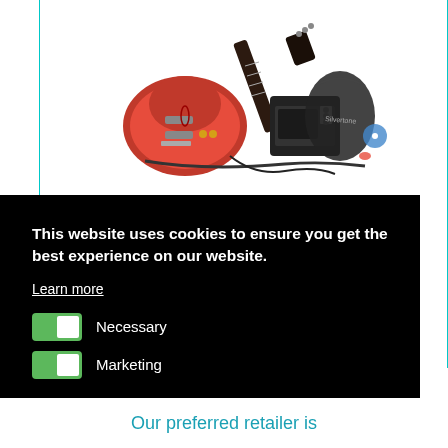[Figure (photo): Electric guitar starter pack product photo showing a red electric guitar, small amplifier, gig bag, strap, cable, and accessories]
This website uses cookies to ensure you get the best experience on our website.
Learn more
Necessary
Marketing
Save Settings
Allow
Our preferred retailer is